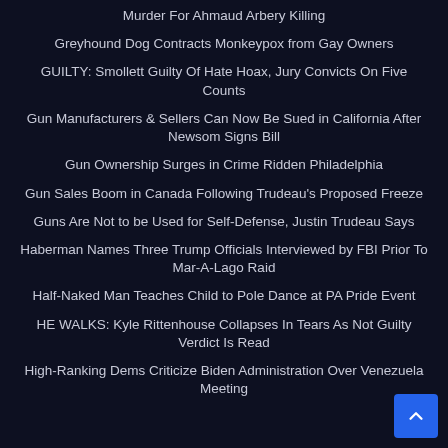Murder For Ahmaud Arbery Killing
Greyhound Dog Contracts Monkeypox from Gay Owners
GUILTY: Smollett Guilty Of Hate Hoax, Jury Convicts On Five Counts
Gun Manufacturers & Sellers Can Now Be Sued in California After Newsom Signs Bill
Gun Ownership Surges in Crime Ridden Philadelphia
Gun Sales Boom in Canada Following Trudeau's Proposed Freeze
Guns Are Not to be Used for Self-Defense, Justin Trudeau Says
Haberman Names Three Trump Officials Interviewed by FBI Prior To Mar-A-Lago Raid
Half-Naked Man Teaches Child to Pole Dance at PA Pride Event
HE WALKS: Kyle Rittenhouse Collapses In Tears As Not Guilty Verdict Is Read
High-Ranking Dems Criticize Biden Administration Over Venezuela Meeting